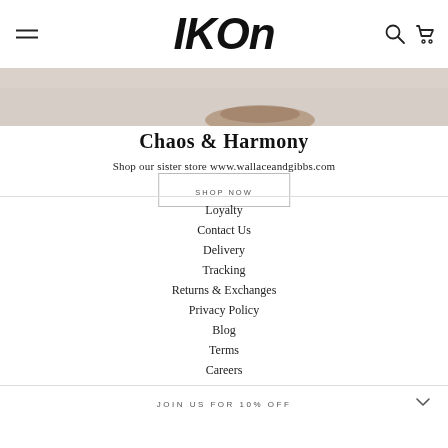[Figure (screenshot): IKON website header with hamburger menu, bold italic IKON logo, search and cart icons]
[Figure (photo): Partial hero image showing bottom of product on light beige/warm background]
Chaos & Harmony
Shop our sister store www.wallaceandgibbs.com
SHOP NOW
Loyalty
Contact Us
Delivery
Tracking
Returns & Exchanges
Privacy Policy
Blog
Terms
Careers
JOIN US FOR 10% OFF